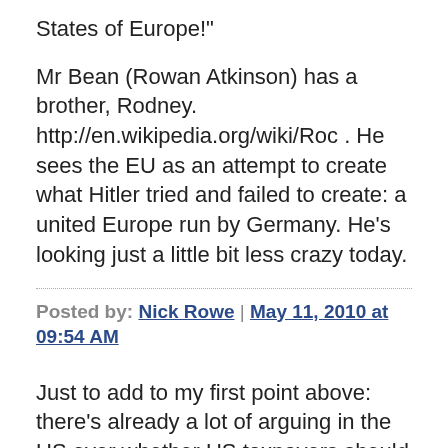States of Europe!"
Mr Bean (Rowan Atkinson) has a brother, Rodney. http://en.wikipedia.org/wiki/Roc . He sees the EU as an attempt to create what Hitler tried and failed to create: a united Europe run by Germany. He's looking just a little bit less crazy today.
Posted by: Nick Rowe | May 11, 2010 at 09:54 AM
Just to add to my first point above: there's already a lot of arguing in the US over whether US taxpayers should have to be on the hook for